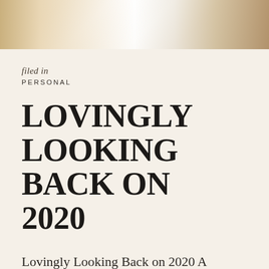[Figure (photo): Top portion of a lifestyle/personal blog photo showing a bright, light-filled scene with warm neutral tones, partially visible]
filed in
PERSONAL
LOVINGLY LOOKING BACK ON 2020
Lovingly Looking Back on 2020 A Photographic Recap of My